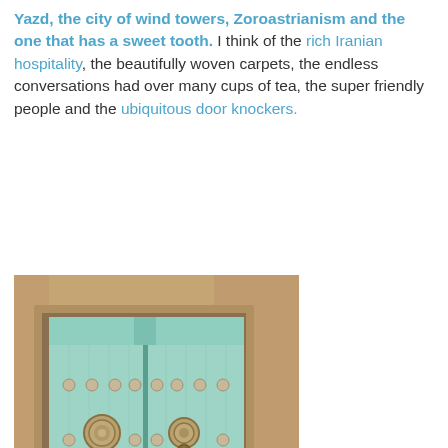Yazd, the city of wind towers, Zoroastrianism and the one that has a sweet tooth. I think of the rich Iranian hospitality, the beautifully woven carpets, the endless conversations had over many cups of tea, the super friendly people and the ubiquitous door knockers.
[Figure (photo): A pale mint/turquoise double door set in a sandy mud-brick wall in Yazd, Iran. The wooden doors have decorative round studs and ornate brass door knockers. A watermark in the lower right reads 'ON THE ROAD'.]